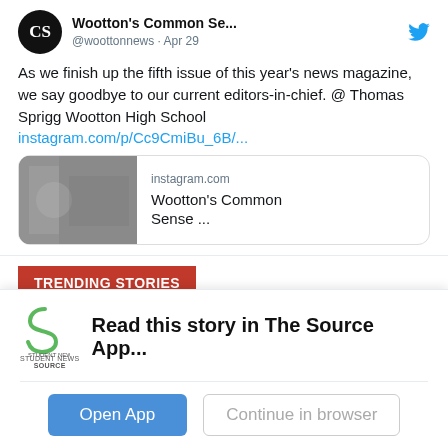[Figure (screenshot): Tweet from @woottonnews (Wootton's Common Sense) dated Apr 29, with avatar logo, Twitter bird icon, tweet body text, and an Instagram link preview card showing instagram.com and 'Wootton's Common Sense ...']
TRENDING STORIES
Junior Karen Potts called to compete on American
[Figure (photo): Small thumbnail image for trending story]
[Figure (screenshot): Source App overlay with Student News Source logo, 'Read this story in The Source App...', Open App button, and Continue in browser button]